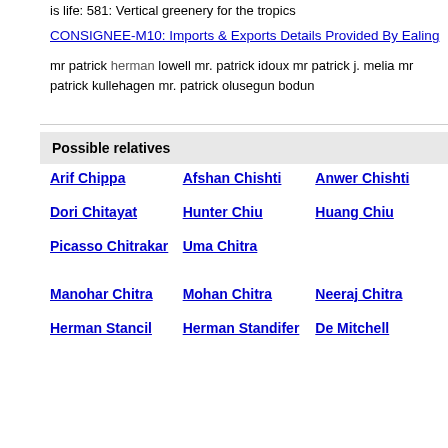is life: 581: Vertical greenery for the tropics
CONSIGNEE-M10: Imports & Exports Details Provided By Ealing
mr patrick herman lowell mr. patrick idoux mr patrick j. melia mr patrick kullehagen mr. patrick olusegun bodun
Possible relatives
Arif Chippa
Afshan Chishti
Anwer Chishti
Dori Chitayat
Hunter Chiu
Huang Chiu
Picasso Chitrakar
Uma Chitra
Manohar Chitra
Mohan Chitra
Neeraj Chitra
Herman Stancil
Herman Standifer
De Mitchell